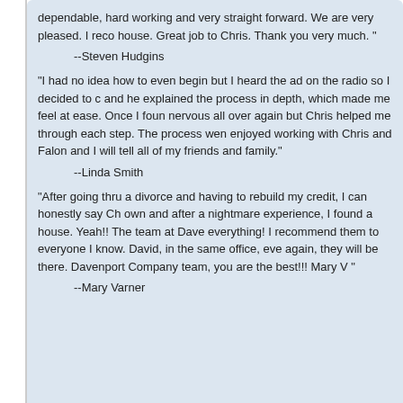dependable, hard working and very straight forward. We are very pleased. I reco house. Great job to Chris. Thank you very much. "
--Steven Hudgins
"I had no idea how to even begin but I heard the ad on the radio so I decided to c and he explained the process in depth, which made me feel at ease. Once I foun nervous all over again but Chris helped me through each step. The process wen enjoyed working with Chris and Falon and I will tell all of my friends and family."
--Linda Smith
"After going thru a divorce and having to rebuild my credit, I can honestly say Ch own and after a nightmare experience, I found a house. Yeah!! The team at Dave everything! I recommend them to everyone I know. David, in the same office, eve again, they will be there. Davenport Company team, you are the best!!! Mary V "
--Mary Varner
Search for a REALTOR® in another City and State:
Search by City:    Search by State: